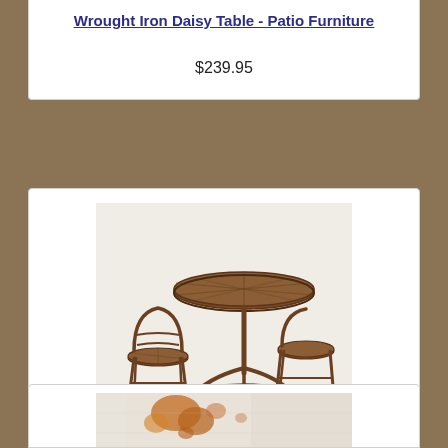Wrought Iron Daisy Table - Patio Furniture
$239.95
[Figure (photo): Wrought iron round patio bistro table with two matching chairs, brown/rust finish, featuring decorative daisy/spoke pattern on table top, viewed from a slight angle]
Round Iron Patio Table - Exterior Furniture
$269.95
[Figure (photo): Partial view of another patio furniture item, showing rust/aged white painted metal surface, partially visible at bottom of page]